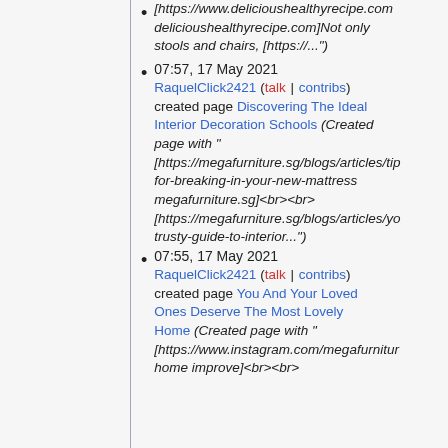[https://www.delicioushealthyrecipe.com delicioushealthyrecipe.com]Not only stools and chairs, [https:/...")
07:57, 17 May 2021 RaquelClick2421 (talk | contribs) created page Discovering The Ideal Interior Decoration Schools (Created page with " [https://megafurniture.sg/blogs/articles/ti... for-breaking-in-your-new-mattress megafurniture.sg]<br><br> [https://megafurniture.sg/blogs/articles/y... trusty-guide-to-interior...")
07:55, 17 May 2021 RaquelClick2421 (talk | contribs) created page You And Your Loved Ones Deserve The Most Lovely Home (Created page with " [https://www.instagram.com/megafurnitu... home improve]<br><br>